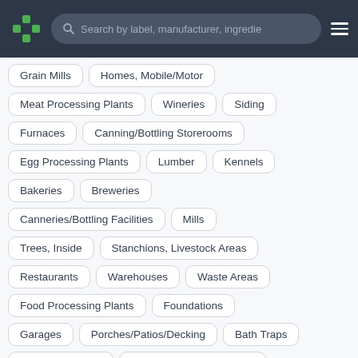Search by label, manufacturer, ingredie
Grain Mills
Homes, Mobile/Motor
Meat Processing Plants
Wineries
Siding
Furnaces
Canning/Bottling Storerooms
Egg Processing Plants
Lumber
Kennels
Bakeries
Breweries
Canneries/Bottling Facilities
Mills
Trees, Inside
Stanchions, Livestock Areas
Restaurants
Warehouses
Waste Areas
Food Processing Plants
Foundations
Garages
Porches/Patios/Decking
Bath Traps
Expansion Joints
Poultry Processing Plants